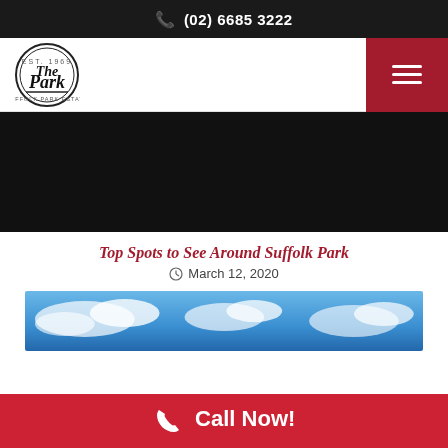(02) 6685 3222
[Figure (logo): The Park circular logo with handwritten text]
[Figure (photo): Dark/black hero image banner]
Top Spots to See Around Suffolk Park
March 12, 2020
[Figure (photo): Sky with clouds photo banner]
Call Now!